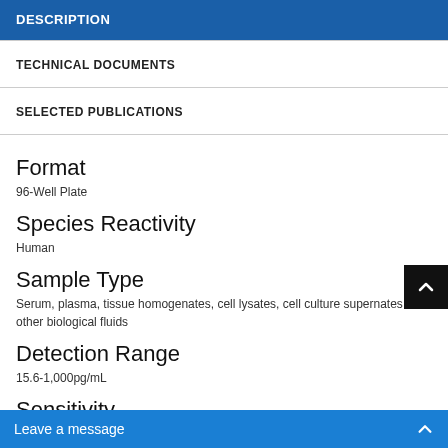DESCRIPTION
TECHNICAL DOCUMENTS
SELECTED PUBLICATIONS
Format
96-Well Plate
Species Reactivity
Human
Sample Type
Serum, plasma, tissue homogenates, cell lysates, cell culture supernates and other biological fluids
Detection Range
15.6-1,000pg/mL
Sensitivity